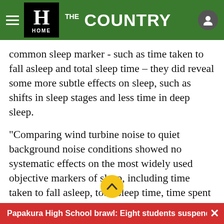THE COUNTRY - HOME (Herald navigation bar)
common sleep marker - such as time taken to fall asleep and total sleep time – they did reveal some more subtle effects on sleep, such as shifts in sleep stages and less time in deep sleep.
"Comparing wind turbine noise to quiet background noise conditions showed no systematic effects on the most widely used objective markers of sleep, including time taken to fall asleep, total sleep time, time spent awake during the night and time spent asleep relative to overall time in bed," lead author Tessa Liebich said.
Papakura High School brawl: Eight students suspended, ×